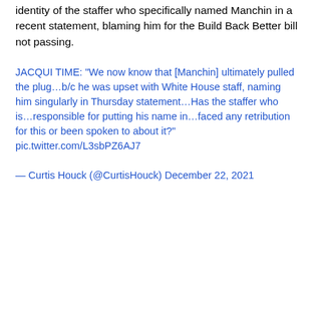identity of the staffer who specifically named Manchin in a recent statement, blaming him for the Build Back Better bill not passing.
JACQUI TIME: "We now know that [Manchin] ultimately pulled the plug…b/c he was upset with White House staff, naming him singularly in Thursday statement…Has the staffer who is…responsible for putting his name in…faced any retribution for this or been spoken to about it?" pic.twitter.com/L3sbPZ6AJ7
— Curtis Houck (@CurtisHouck) December 22, 2021